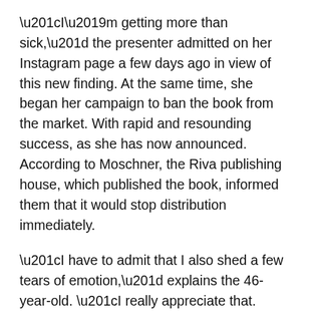“I’m getting more than sick,” the presenter admitted on her Instagram page a few days ago in view of this new finding. At the same time, she began her campaign to ban the book from the market. With rapid and resounding success, as she has now announced. According to Moschner, the Riva publishing house, which published the book, informed them that it would stop distribution immediately.
“I have to admit that I also shed a few tears of emotion,” explains the 46-year-old. “I really appreciate that. Because even if the intention of the book was humorous, the publisher takes the subject seriously, doesn’t trivialize it and acted immediately. A big thank you for that,” she continues. It will take some time before the book has completely disappeared from the market. “But it happens,”